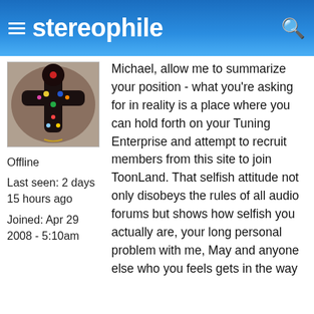stereophile
[Figure (photo): Avatar image showing a decorative cross/voodoo doll figure made of dark beads and jewels]
Offline
Last seen: 2 days 15 hours ago
Joined: Apr 29 2008 - 5:10am
Michael, allow me to summarize your position - what you're asking for in reality is a place where you can hold forth on your Tuning Enterprise and attempt to recruit members from this site to join ToonLand. That selfish attitude not only disobeys the rules of all audio forums but shows how selfish you actually are, your long personal problem with me, May and anyone else who you feels gets in the way of the Righteous Tuning